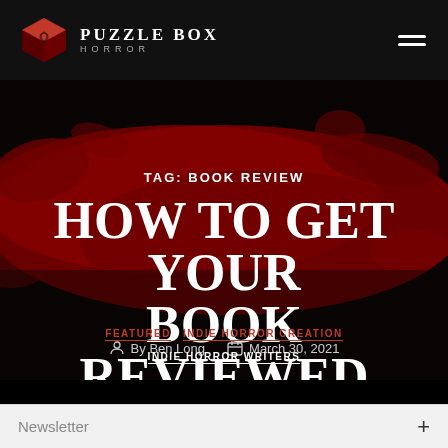Puzzle Box Horror
TAG: BOOK REVIEW
HOW TO GET YOUR BOOK REVIEWED
FEATURED   INDIE HORROR CREATION   INDIE HORROR WRITERS
By Ben Long   March 30, 2021
Newsletter